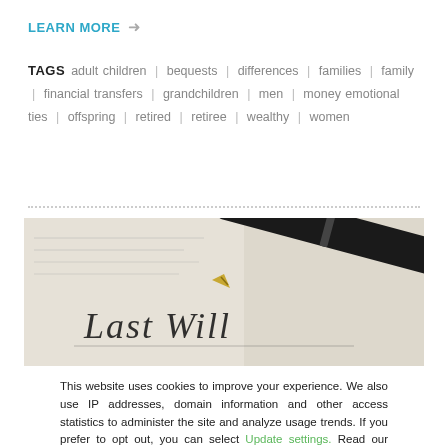LEARN MORE →
TAGS  adult children | bequests | differences | families | family | financial transfers | grandchildren | men | money emotional ties | offspring | retired | retiree | wealthy | women
[Figure (photo): Photo of a 'Last Will' document with a black pen resting on it]
This website uses cookies to improve your experience. We also use IP addresses, domain information and other access statistics to administer the site and analyze usage trends. If you prefer to opt out, you can select Update settings. Read our Privacy Policy.
Accept